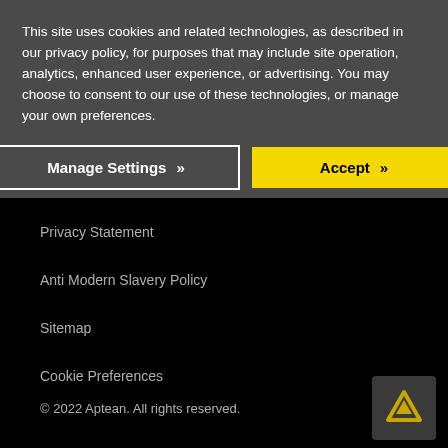This site uses cookies and related technologies, as described in our privacy policy, for purposes that may include site operation, analytics, enhanced user experience, or advertising. You may choose to consent to our use of these technologies, or manage your own preferences.
[Figure (screenshot): Cookie consent banner with two buttons: 'Manage Settings' (outlined) and 'Accept' (yellow background), shown on a dark gray background.]
Privacy Statement
Anti Modern Slavery Policy
Sitemap
Cookie Preferences
© 2022 Aptean. All rights reserved.